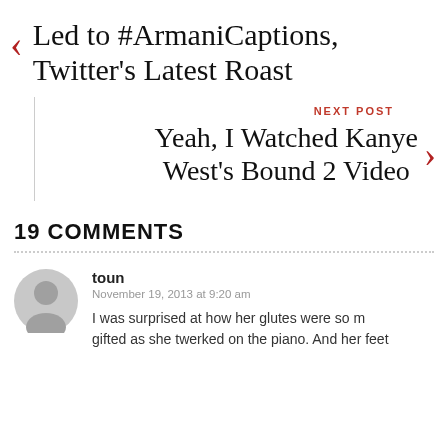Led to #ArmaniCaptions, Twitter's Latest Roast
Yeah, I Watched Kanye West's Bound 2 Video
19 COMMENTS
toun
November 19, 2013 at 9:20 am
I was surprised at how her glutes were so m... gifted as she twerked on the piano. And her feet